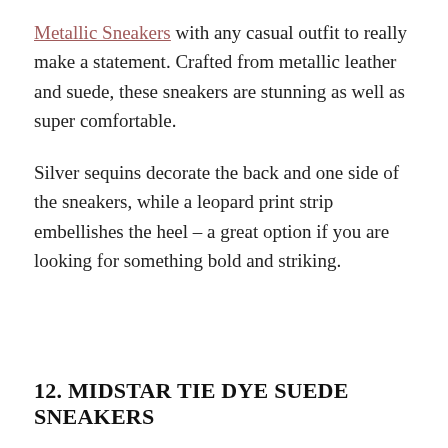Metallic Sneakers with any casual outfit to really make a statement. Crafted from metallic leather and suede, these sneakers are stunning as well as super comfortable.
Silver sequins decorate the back and one side of the sneakers, while a leopard print strip embellishes the heel – a great option if you are looking for something bold and striking.
12. MIDSTAR TIE DYE SUEDE SNEAKERS